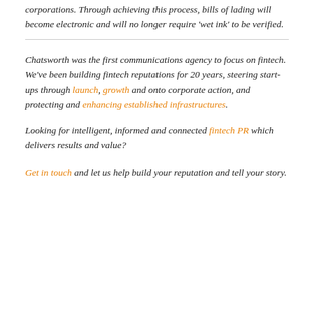corporations. Through achieving this process, bills of lading will become electronic and will no longer require 'wet ink' to be verified.
Chatsworth was the first communications agency to focus on fintech. We've been building fintech reputations for 20 years, steering start-ups through launch, growth and onto corporate action, and protecting and enhancing established infrastructures.
Looking for intelligent, informed and connected fintech PR which delivers results and value?
Get in touch and let us help build your reputation and tell your story.